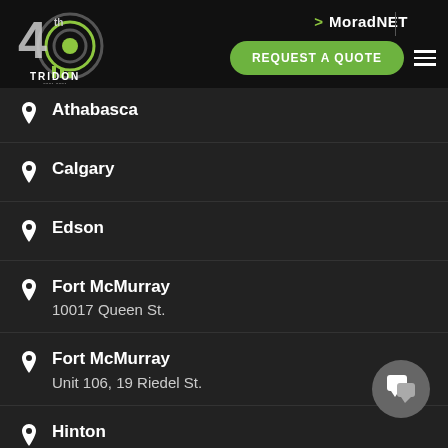[Figure (logo): Tridon 40th anniversary logo — stylized '4' with concentric circle antenna graphic and 'TRIDON' text, green and grey on black]
> MoradNET | REQUEST A QUOTE ☰
Athabasca
Calgary
Edson
Fort McMurray
10017 Queen St.
Fort McMurray
Unit 106, 19 Riedel St.
Hinton
Saskatoon